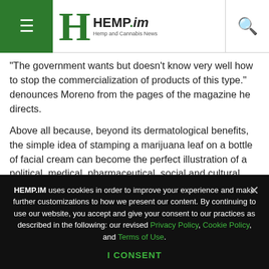HEMP.im — Hemp and Cannabis News
“The government wants but doesn’t know very well how to stop the commercialization of products of this type.” denounces Moreno from the pages of the magazine he directs.
Above all because, beyond its dermatological benefits, the simple idea of stamping a marijuana leaf on a bottle of facial cream can become the perfect illustration of a political, medical, pharmaceutical, social and cultural debate.
—
(Featured Image by Kimzy Nanney)
HEMP.IM uses cookies in order to improve your experience and make further customizations to how we present our content. By continuing to use our website, you accept and give your consent to our practices as described in the following: our revised Privacy Policy, Cookie Policy, and Terms of Use.
I CONSENT